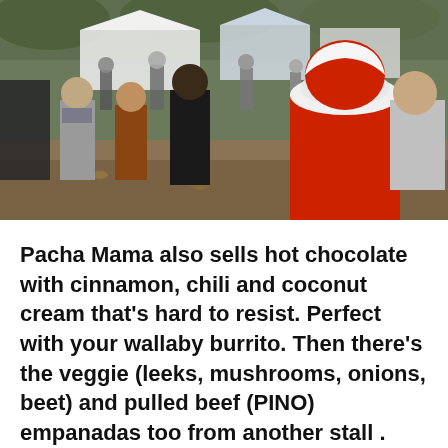[Figure (photo): Outdoor market scene with people walking between vendor stalls and tents. A person in a bright red/orange puffer jacket with white fur-trimmed hood is prominent in the foreground on the right. Trees and white canopy tents are visible in the background.]
Pacha Mama also sells hot chocolate with cinnamon, chili and coconut cream that's hard to resist. Perfect with your wallaby burrito. Then there's the veggie (leeks, mushrooms, onions, beet) and pulled beef (PINO) empanadas too from another stall .  Both pastry pockets are good, and went well with the pebre